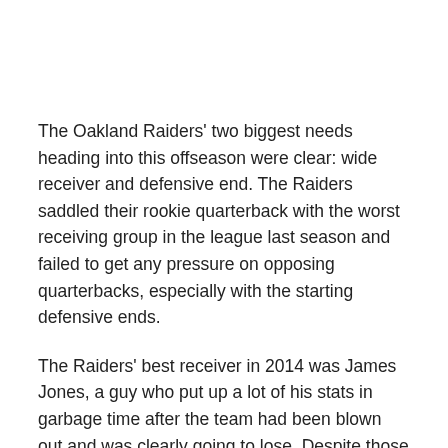The Oakland Raiders' two biggest needs heading into this offseason were clear: wide receiver and defensive end. The Raiders saddled their rookie quarterback with the worst receiving group in the league last season and failed to get any pressure on opposing quarterbacks, especially with the starting defensive ends.
The Raiders' best receiver in 2014 was James Jones, a guy who put up a lot of his stats in garbage time after the team had been blown out and was clearly going to lose. Despite those garbage time stats, Jones only finished the season with 73 catches for 666 yards. Not exactly numbers you want from your top pass-catcher.